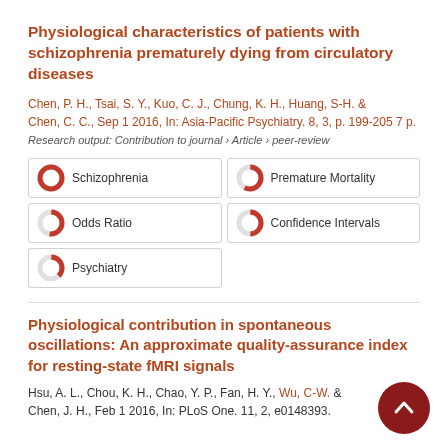Physiological characteristics of patients with schizophrenia prematurely dying from circulatory diseases
Chen, P. H., Tsai, S. Y., Kuo, C. J., Chung, K. H., Huang, S-H. & Chen, C. C., Sep 1 2016, In: Asia-Pacific Psychiatry. 8, 3, p. 199-205 7 p.
Research output: Contribution to journal › Article › peer-review
Schizophrenia
Premature Mortality
Odds Ratio
Confidence Intervals
Psychiatry
Physiological contribution in spontaneous oscillations: An approximate quality-assurance index for resting-state fMRI signals
Hsu, A. L., Chou, K. H., Chao, Y. P., Fan, H. Y., Wu, C-W. & Chen, J. H., Feb 1 2016, In: PLoS One. 11, 2, e0148393.